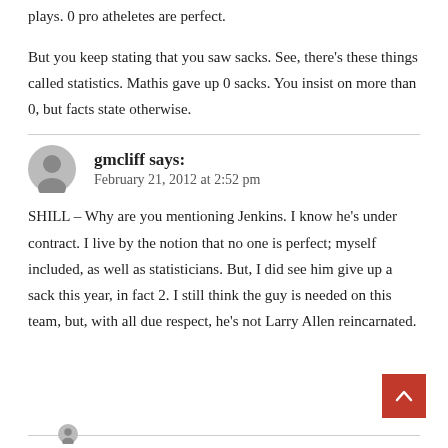plays. 0 pro atheletes are perfect.
But you keep stating that you saw sacks. See, there's these things called statistics. Mathis gave up 0 sacks. You insist on more than 0, but facts state otherwise.
gmcliff says:
February 21, 2012 at 2:52 pm
SHILL – Why are you mentioning Jenkins. I know he's under contract. I live by the notion that no one is perfect; myself included, as well as statisticians. But, I did see him give up a sack this year, in fact 2. I still think the guy is needed on this team, but, with all due respect, he's not Larry Allen reincarnated.